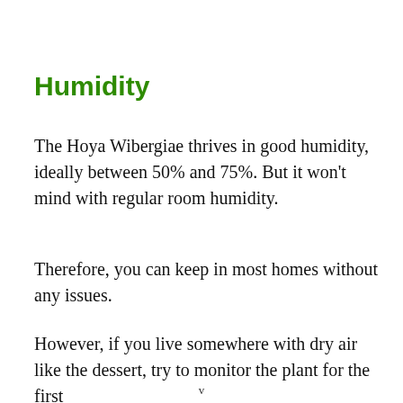Humidity
The Hoya Wibergiae thrives in good humidity, ideally between 50% and 75%. But it won't mind with regular room humidity.
Therefore, you can keep in most homes without any issues.
However, if you live somewhere with dry air like the dessert, try to monitor the plant for the first
v